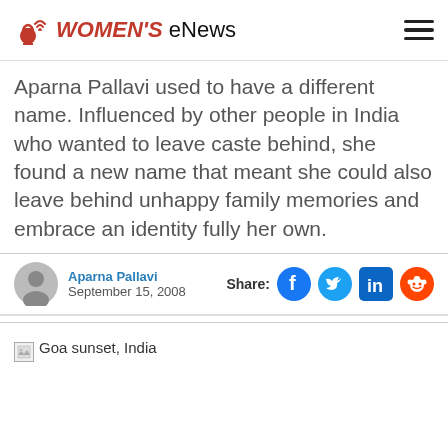WOMEN'S eNews
Aparna Pallavi used to have a different name. Influenced by other people in India who wanted to leave caste behind, she found a new name that meant she could also leave behind unhappy family memories and embrace an identity fully her own.
Aparna Pallavi
September 15, 2008
[Figure (photo): Goa sunset, India — broken image placeholder with alt text]
Goa sunset, India